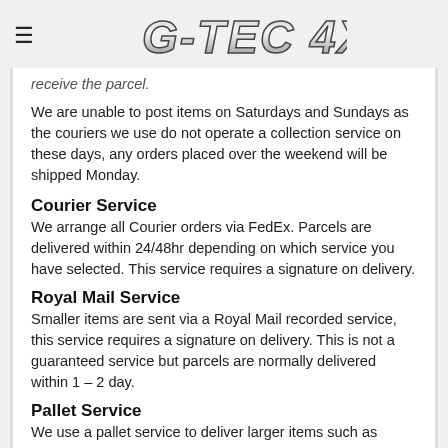G-TEC 4X4
receive the parcel.
We are unable to post items on Saturdays and Sundays as the couriers we use do not operate a collection service on these days, any orders placed over the weekend will be shipped Monday.
Courier Service
We arrange all Courier orders via FedEx. Parcels are delivered within 24/48hr depending on which service you have selected. This service requires a signature on delivery.
Royal Mail Service
Smaller items are sent via a Royal Mail recorded service, this service requires a signature on delivery. This is not a guaranteed service but parcels are normally delivered within 1 – 2 day.
Pallet Service
We use a pallet service to deliver larger items such as